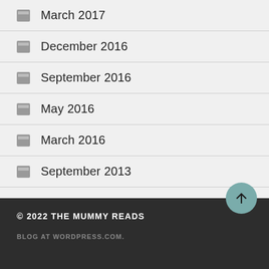March 2017
December 2016
September 2016
May 2016
March 2016
September 2013
© 2022 THE MUMMY READS
BLOG AT WORDPRESS.COM.